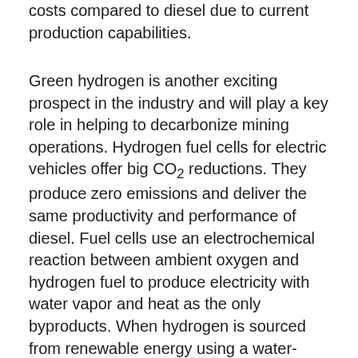costs compared to diesel due to current production capabilities.
Green hydrogen is another exciting prospect in the industry and will play a key role in helping to decarbonize mining operations. Hydrogen fuel cells for electric vehicles offer big CO₂ reductions. They produce zero emissions and deliver the same productivity and performance of diesel. Fuel cells use an electrochemical reaction between ambient oxygen and hydrogen fuel to produce electricity with water vapor and heat as the only byproducts. When hydrogen is sourced from renewable energy using a water-splitting method called electrolysis, the process and resulting fuel is completely